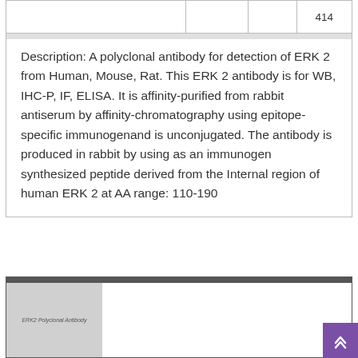|  |  |  | 414 |
| --- | --- | --- | --- |
|  |
Description: A polyclonal antibody for detection of ERK 2 from Human, Mouse, Rat. This ERK 2 antibody is for WB, IHC-P, IF, ELISA. It is affinity-purified from rabbit antiserum by affinity-chromatography using epitope-specific immunogenand is unconjugated. The antibody is produced in rabbit by using as an immunogen synthesized peptide derived from the Internal region of human ERK 2 at AA range: 110-190
[Figure (screenshot): Product card section with gray image placeholder labeled 'ERK2 Polyclonal Antibody' on the left and white content area on the right, with dark header bar at top and purple scroll-to-top button at bottom right.]